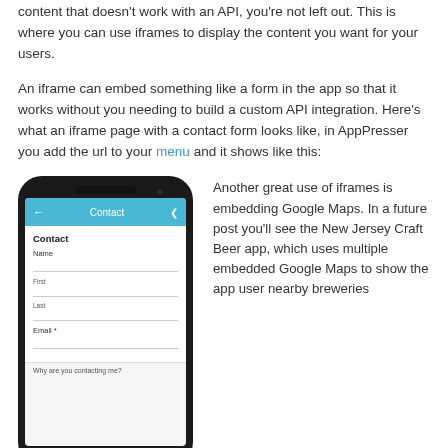content that doesn't work with an API, you're not left out. This is where you can use iframes to display the content you want for your users.
An iframe can embed something like a form in the app so that it works without you needing to build a custom API integration. Here's what an iframe page with a contact form looks like, in AppPresser you add the url to your menu and it shows like this:
[Figure (screenshot): Mobile phone mockup showing a Contact form with fields for Name (First, Last) and Email, with a blue header bar labeled 'Contact']
Another great use of iframes is embedding Google Maps. In a future post you'll see the New Jersey Craft Beer app, which uses multiple embedded Google Maps to show the app user nearby breweries